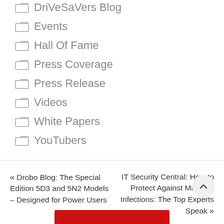DriVeSaVers Blog
Events
Hall Of Fame
Press Coverage
Press Release
Videos
White Papers
YouTubers
« Drobo Blog: The Special Edition 5D3 and 5N2 Models – Designed for Power Users
IT Security Central: How to Protect Against Malware Infections: The Top Experts Speak »